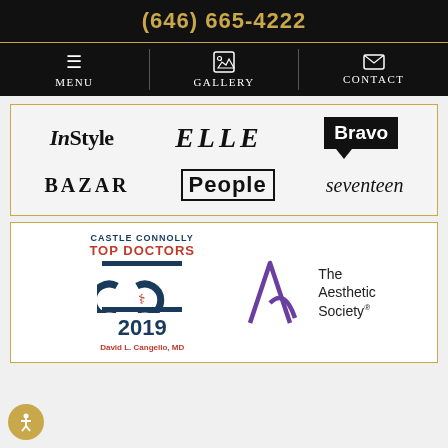(646) 665-4222
[Figure (screenshot): Navigation bar with Menu, Gallery, and Contact icons on dark background]
[Figure (logo): Media logos: InStyle, ELLE, Bravo, BAZAAR, People, seventeen]
[Figure (logo): Castle Connolly Top Doctors 2019 badge for David L. Cangello, MD, and The Aesthetic Society logo]